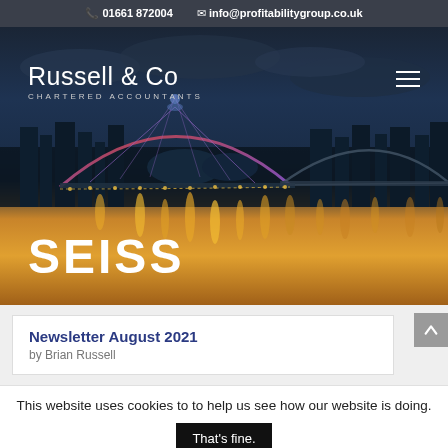📞 01661 872004   ✉ info@profitabilitygroup.co.uk
[Figure (photo): Screenshot of Russell & Co Chartered Accountants website homepage hero section. Background shows a night cityscape of Newcastle, featuring the Millennium Bridge and Tyne Bridge illuminated in yellow and blue lights, reflected in the River Tyne. The top has a dark bar with contact details. The hero contains the company logo 'Russell & Co CHARTERED ACCOUNTANTS', a hamburger menu icon, and the large bold heading 'SEISS' in white.]
Newsletter August 2021
by Brian Russell
This website uses cookies to to help us see how our website is doing.  That's fine.